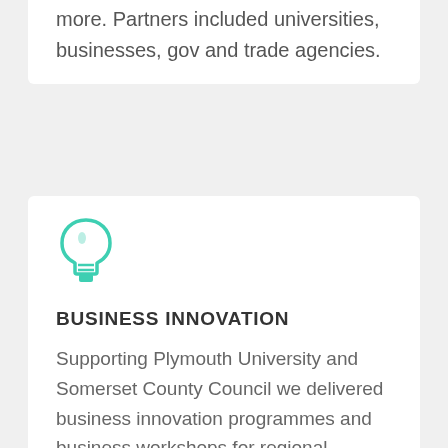more. Partners included universities, businesses, gov and trade agencies.
[Figure (illustration): Teal/green lightbulb icon]
BUSINESS INNOVATION
Supporting Plymouth University and Somerset County Council we delivered business innovation programmes and business workshops for regional businesses. All sectors shown how innovation culture can be used.